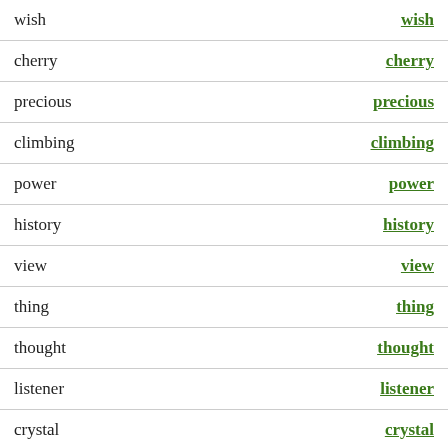| word | link |
| --- | --- |
| wish | wish |
| cherry | cherry |
| precious | precious |
| climbing | climbing |
| power | power |
| history | history |
| view | view |
| thing | thing |
| thought | thought |
| listener | listener |
| crystal | crystal |
| sapphire | sapphire |